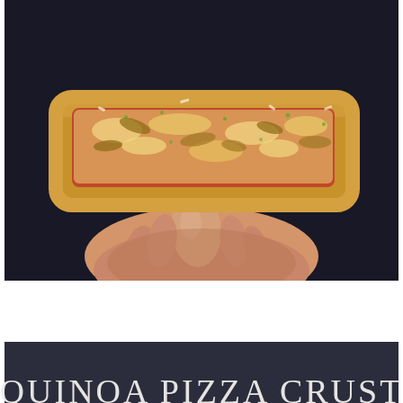[Figure (photo): A hand holding a rectangular slice of pizza with tomato sauce, melted cheese, and toppings, against a dark near-black background. The pizza crust appears golden and crispy.]
[Figure (photo): Dark navy/charcoal background with large white serif capital letters reading 'QUINOA PIZZA CRUST' partially visible at the bottom of the frame.]